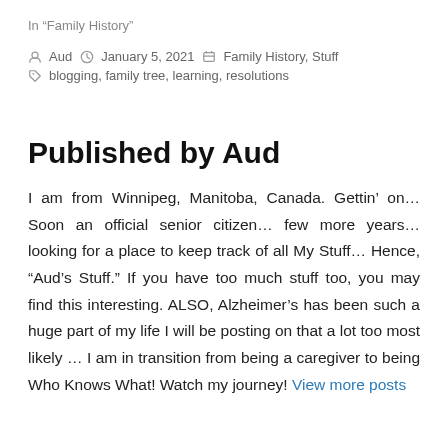In “Family History”
by Aud  January 5, 2021  Family History, Stuff  blogging, family tree, learning, resolutions
Published by Aud
I am from Winnipeg, Manitoba, Canada. Gettin’ on… Soon an official senior citizen… few more years… looking for a place to keep track of all My Stuff… Hence, “Aud’s Stuff.” If you have too much stuff too, you may find this interesting. ALSO, Alzheimer’s has been such a huge part of my life I will be posting on that a lot too most likely … I am in transition from being a caregiver to being Who Knows What! Watch my journey! View more posts